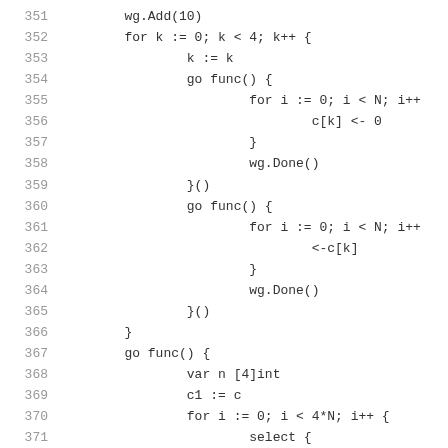351  wg.Add(10)
352  for k := 0; k < 4; k++ {
353       k := k
354       go func() {
355            for i := 0; i < N; i++
356                 c[k] <- 0
357            }
358            wg.Done()
359       }()
360       go func() {
361            for i := 0; i < N; i++
362                 <-c[k]
363            }
364            wg.Done()
365       }()
366  }
367  go func() {
368       var n [4]int
369       c1 := c
370       for i := 0; i < 4*N; i++ {
371            select {